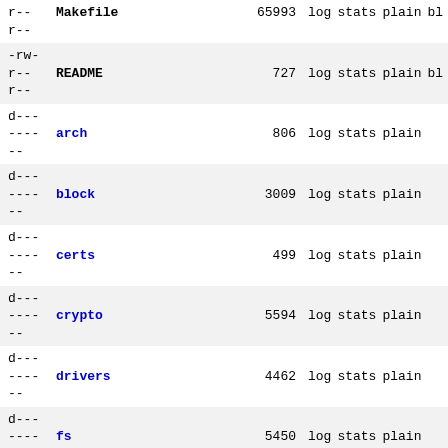r--  Makefile  65993  log  stats  plain  bl
-rw-
r--  README  727  log  stats  plain  bl
r--
d---
----  arch  806  log  stats  plain
--
d---
----  block  3009  log  stats  plain
--
d---
----  certs  499  log  stats  plain
--
d---
----  crypto  5594  log  stats  plain
--
d---
----  drivers  4462  log  stats  plain
--
d---
----  fs  5450  log  stats  plain
--
d---
----  include  870  log  stats  plain